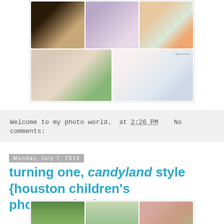[Figure (photo): Photo collage of newborn baby portraits in five panels with soft pastel colors and floral headbands. Watermark text 'Ryan Flores' visible in top right of lower half.]
Welcome to my photo world.  at 2:26 PM    No comments:
Monday, July 7, 2014
turning one, candyland style {houston children's photographer}
[Figure (photo): Photo collage of a one-year-old child's birthday session in candyland style, showing three panels with outdoor green background.]